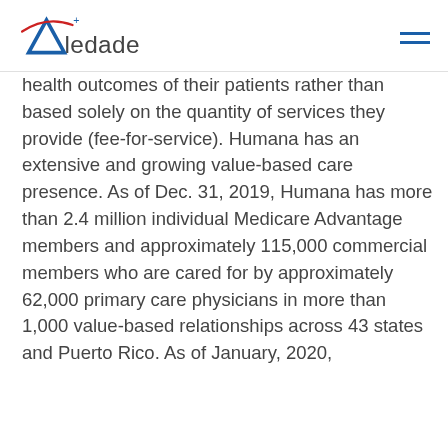Aledade
health outcomes of their patients rather than based solely on the quantity of services they provide (fee-for-service). Humana has an extensive and growing value-based care presence. As of Dec. 31, 2019, Humana has more than 2.4 million individual Medicare Advantage members and approximately 115,000 commercial members who are cared for by approximately 62,000 primary care physicians in more than 1,000 value-based relationships across 43 states and Puerto Rico. As of January, 2020,